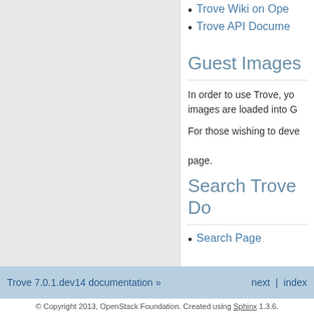Trove Wiki on Ope...
Trove API Docume...
Guest Images
In order to use Trove, yo... images are loaded into G...
For those wishing to dev... page.
Search Trove Do...
Search Page
Trove 7.0.1.dev14 documentation »    next | index
© Copyright 2013, OpenStack Foundation. Created using Sphinx 1.3.6.